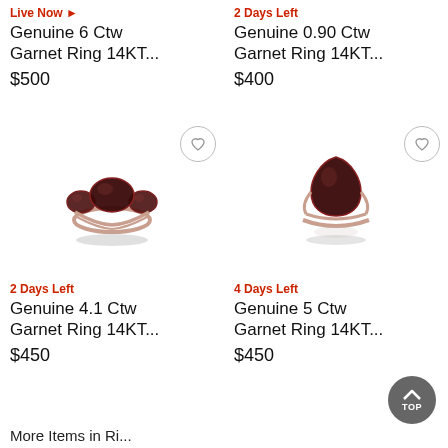Live Now ▶
2 Days Left
Genuine 6 Ctw Garnet Ring 14KT...
Genuine 0.90 Ctw Garnet Ring 14KT...
$500
$400
[Figure (photo): Rose gold ring with three dark red garnet stones, oval center stone flanked by two smaller stones]
[Figure (photo): Rose gold ring with a large pear-shaped dark red garnet stone]
2 Days Left
4 Days Left
Genuine 4.1 Ctw Garnet Ring 14KT...
Genuine 5 Ctw Garnet Ring 14KT...
$450
$450
More Items in Ri...